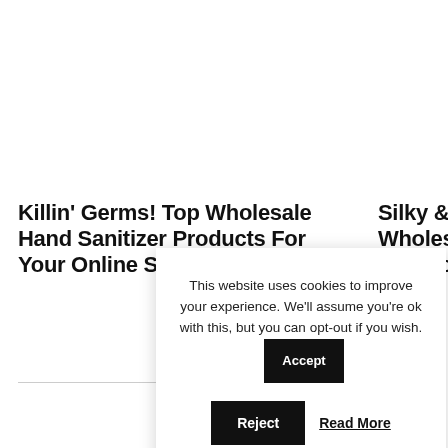Killin' Germs! Top Wholesale Hand Sanitizer Products For Your Online Store
Silky & Wholes Produc:
This website uses cookies to improve your experience. We'll assume you're ok with this, but you can opt-out if you wish.
Accept
Reject
Read More